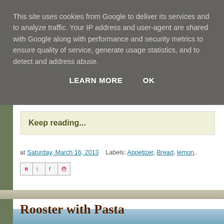This site uses cookies from Google to deliver its services and to analyze traffic. Your IP address and user-agent are shared with Google along with performance and security metrics to ensure quality of service, generate usage statistics, and to detect and address abuse.
LEARN MORE    OK
Keep reading...
at Saturday, March 16, 2013    Labels: Appetizer, Bread, lemon,
Rooster with Pasta